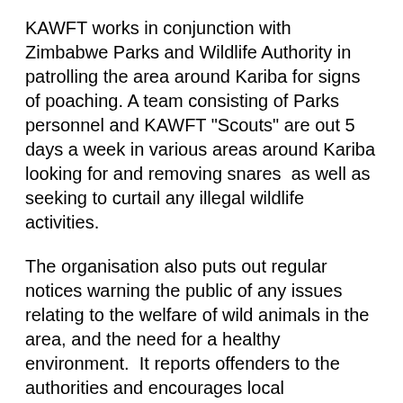KAWFT works in conjunction with Zimbabwe Parks and Wildlife Authority in patrolling the area around Kariba for signs of poaching. A team consisting of Parks personnel and KAWFT "Scouts" are out 5 days a week in various areas around Kariba looking for and removing snares  as well as seeking to curtail any illegal wildlife activities.
The organisation also puts out regular notices warning the public of any issues relating to the welfare of wild animals in the area, and the need for a healthy environment.  It reports offenders to the authorities and encourages local businesses and community leaders to undertake regular "clean-ups" to ensure that the risk of wild animals becoming scavenging "pests" in the town, is reduced.
Cooperation with the Parks Authority - In all its activities, KAWFT receives help, encouragement and guidance from the Kariba National Parks Area Manager, and has drawn up a Memorandum of Understanding with the Zimbabwe